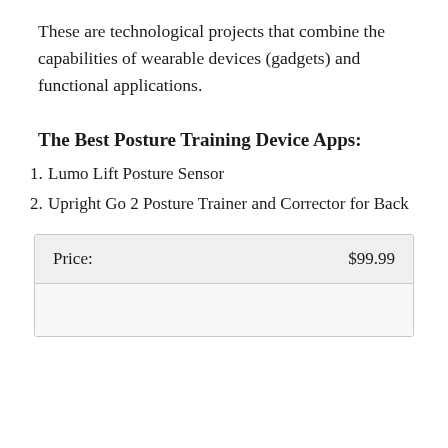These are technological projects that combine the capabilities of wearable devices (gadgets) and functional applications.
The Best Posture Training Device Apps:
Lumo Lift Posture Sensor
Upright Go 2 Posture Trainer and Corrector for Back
| Price: | $99.99 |
| --- | --- |